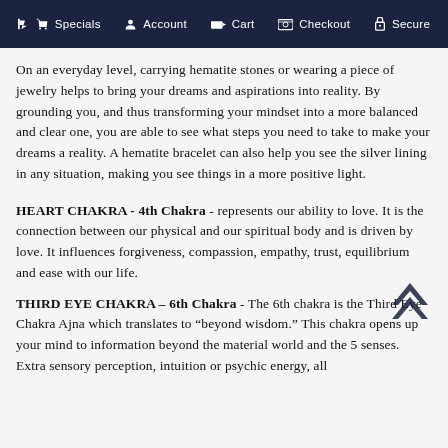Specials  Account  Cart  Checkout  Secure
On an everyday level, carrying hematite stones or wearing a piece of jewelry helps to bring your dreams and aspirations into reality. By grounding you, and thus transforming your mindset into a more balanced and clear one, you are able to see what steps you need to take to make your dreams a reality. A hematite bracelet can also help you see the silver lining in any situation, making you see things in a more positive light.
HEART CHAKRA - 4th Chakra - represents our ability to love. It is the connection between our physical and our spiritual body and is driven by love. It influences forgiveness, compassion, empathy, trust, equilibrium and ease with our life.
THIRD EYE CHAKRA – 6th Chakra - The 6th chakra is the Third Eye Chakra Ajna which translates to “beyond wisdom.” This chakra opens up your mind to information beyond the material world and the 5 senses. Extra sensory perception, intuition or psychic energy, all